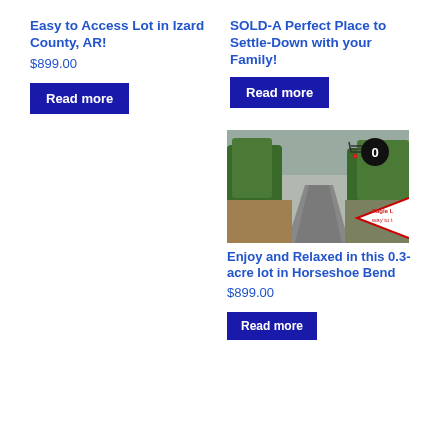Easy to Access Lot in Izard County, AR!
$899.00
Read more
SOLD-A Perfect Place to Settle-Down with your Family!
Read more
[Figure (photo): Road through trees with Eagle Land sign overlay and shopping cart icon with 0]
Enjoy and Relaxed in this 0.3-acre lot in Horseshoe Bend
$899.00
Read more